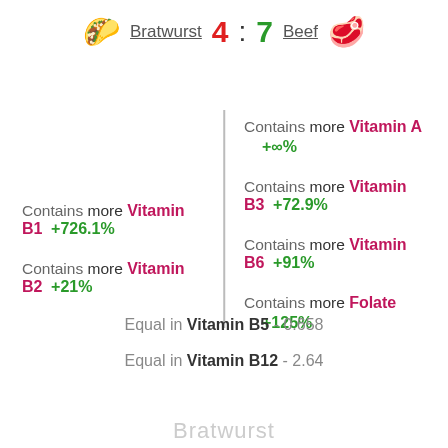Bratwurst 4 : 7 Beef
Contains more Vitamin A +∞%
Contains more Vitamin B3 +72.9%
Contains more Vitamin B1 +726.1%
Contains more Vitamin B6 +91%
Contains more Vitamin B2 +21%
Contains more Folate +125%
Equal in Vitamin B5 - 0.658
Equal in Vitamin B12 - 2.64
Bratwurst